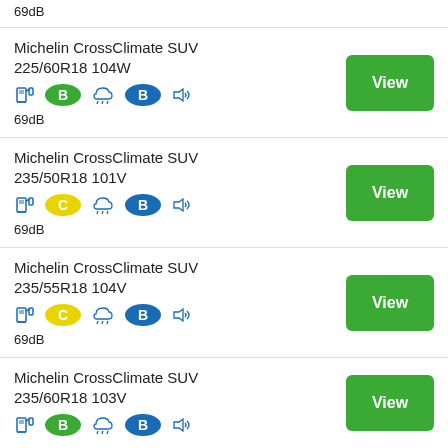69dB
Michelin CrossClimate SUV 225/60R18 104W — B, B, 69dB — View
Michelin CrossClimate SUV 235/50R18 101V — C, B, 69dB — View
Michelin CrossClimate SUV 235/55R18 104V — C, B, 69dB — View
Michelin CrossClimate SUV 235/60R18 103V — B, B — View